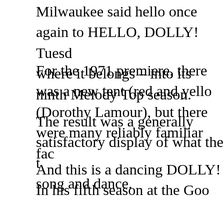Milwaukee said hello once again to HELLO, DOLLY! Tuesd where it belongs – into its ninth Melody Top season.
For the 1971 premiere, there was a new tent (red and yello (Dorothy Lamour), but there were many reliably familiar fac
The result was a generally satisfactory display of what the t song and dance.
And this is a dancing DOLLY! In his fifth season at the Goo Bishop has devised – with returning choreographer James numbers. As we've come to expect, conductor Donald Yap's of Jerry Herman's underrated score.
Despite the night's chill, a near-capacity audience was in a an ovation.
The latest in the tent's line of visiting ex-movie stars, Miss L polished over years next to Bob Hope (whose phoned-in ch
At times, Miss Lamour appeared to be impersonating the st Dolly. Carol Channing. Miss Lamour's singing voice, howev